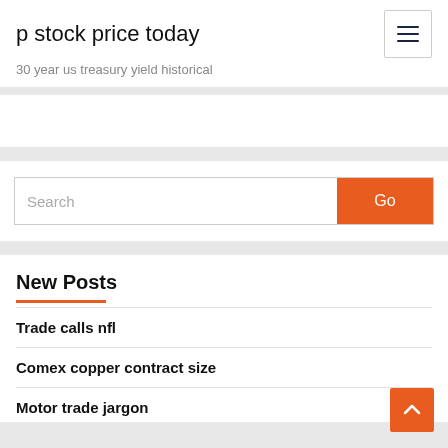p stock price today
30 year us treasury yield historical
Search
New Posts
Trade calls nfl
Comex copper contract size
Motor trade jargon